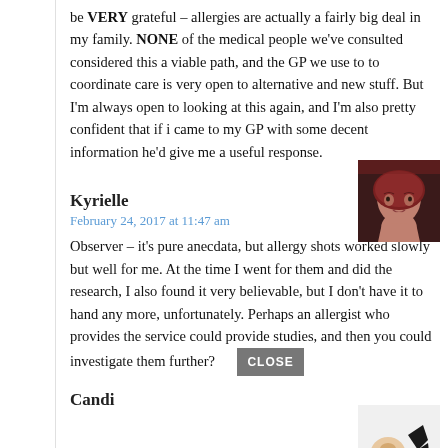be VERY grateful – allergies are actually a fairly big deal in my family. NONE of the medical people we've consulted considered this a viable path, and the GP we use to to coordinate care is very open to alternative and new stuff. But I'm always open to looking at this again, and I'm also pretty confident that if i came to my GP with some decent information he'd give me a useful response.
Kyrielle
February 24, 2017 at 11:47 am
Observer – it's pure anecdata, but allergy shots worked slowly but well for me. At the time I went for them and did the research, I also found it very believable, but I don't have it to hand any more, unfortunately. Perhaps an allergist who provides the service could provide studies, and then you could investigate them further?
Candi